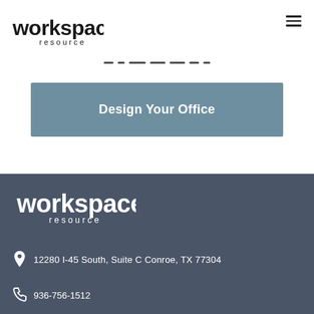[Figure (logo): Workspace Resource logo in dark/black color, top-left of page]
[Figure (other): Hamburger menu icon (three horizontal lines) top-right]
[Figure (other): Dashed separator line across center-top area]
Design Your Office
[Figure (logo): Workspace Resource logo in white color, in dark footer area]
12280 I-45 South, Suite C Conroe, TX 77304
936-756-1512